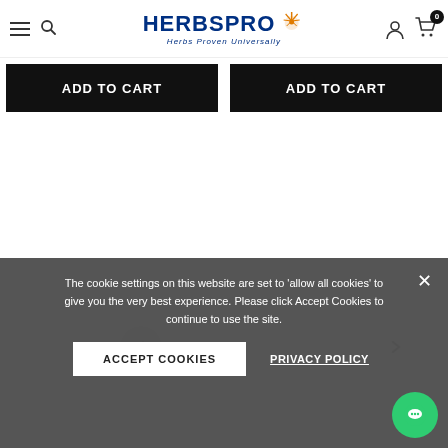HerbsPro - Herbs Proven Universally
ADD TO CART
ADD TO CART
The cookie settings on this website are set to 'allow all cookies' to give you the very best experience. Please click Accept Cookies to continue to use the site.
ACCEPT COOKIES
PRIVACY POLICY